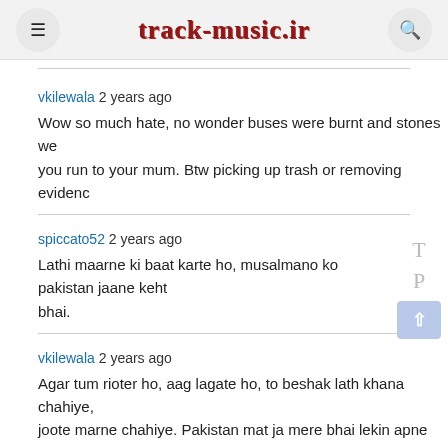track-music.ir
vkilewala 2 years ago
Wow so much hate, no wonder buses were burnt and stones we... you run to your mum. Btw picking up trash or removing evidenc...
spiccato52 2 years ago
Lathi maarne ki baat karte ho, musalmano ko pakistan jaane keht... bhai.
vkilewala 2 years ago
Agar tum rioter ho, aag lagate ho, to beshak lath khana chahiye,... joote marne chahiye. Pakistan mat ja mere bhai lekin apne desh...